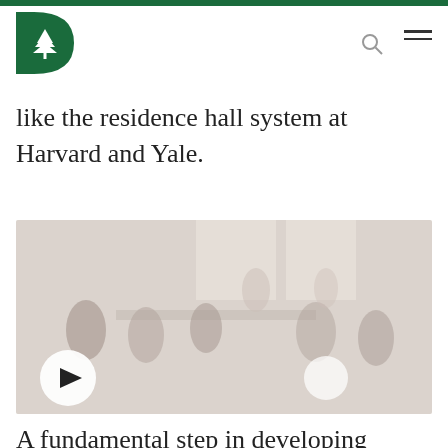Dartmouth logo and navigation
like the residence hall system at Harvard and Yale.
[Figure (photo): Video thumbnail showing a room with people seated, with a circular play button overlay in the lower left corner]
A fundamental step in developing